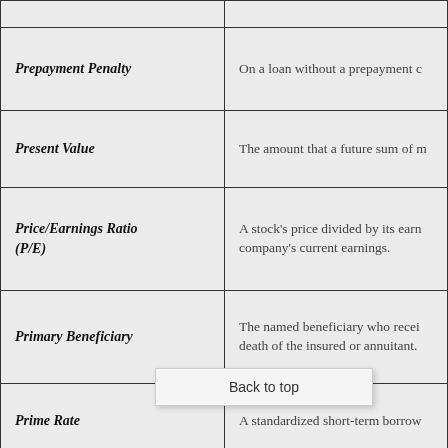| Term | Definition |
| --- | --- |
| Prepayment Penalty | On a loan without a prepayment c… |
| Present Value | The amount that a future sum of m… |
| Price/Earnings Ratio (P/E) | A stock's price divided by its earn… company's current earnings. |
| Primary Beneficiary | The named beneficiary who recei… death of the insured or annuitant. |
| Prime Rate | A standardized short-term borrow… |
| Principal | The original amount of money in… owed on a loan, separate from int… the main party in a financial trans… |
| Private Letter Ruling | The Internal Revenue Service's i… |